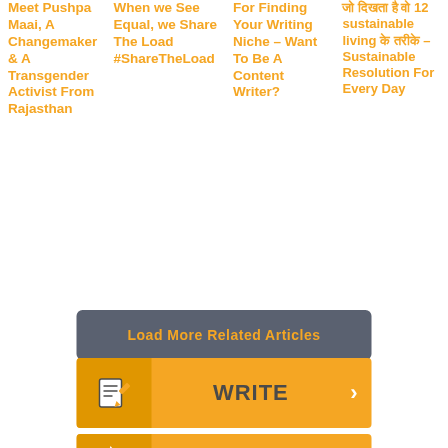Meet Pushpa Maai, A Changemaker & A Transgender Activist From Rajasthan
When we See Equal, we Share The Load #ShareTheLoad
For Finding Your Writing Niche – Want To Be A Content Writer?
जो दिखता है वो 12 sustainable living के तरीके – Sustainable Resolution For Every Day
Load More Related Articles
WRITE